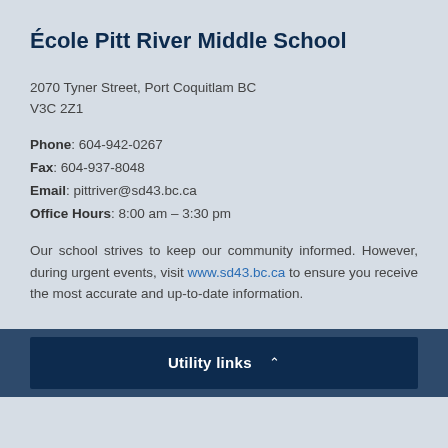École Pitt River Middle School
2070 Tyner Street, Port Coquitlam BC
V3C 2Z1
Phone: 604-942-0267
Fax: 604-937-8048
Email: pittriver@sd43.bc.ca
Office Hours: 8:00 am – 3:30 pm
Our school strives to keep our community informed. However, during urgent events, visit www.sd43.bc.ca to ensure you receive the most accurate and up-to-date information.
Utility links ^